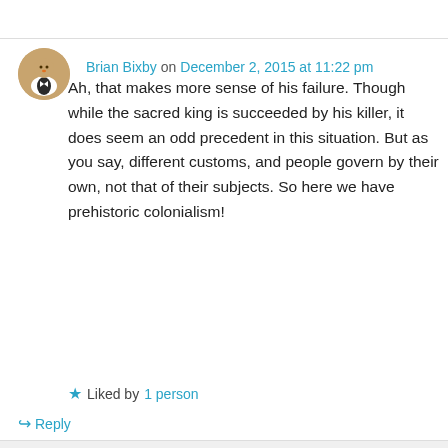Brian Bixby on December 2, 2015 at 11:22 pm
Ah, that makes more sense of his failure. Though while the sacred king is succeeded by his killer, it does seem an odd precedent in this situation. But as you say, different customs, and people govern by their own, not that of their subjects. So here we have prehistoric colonialism!
Liked by 1 person
Reply
crimsonprose on December 3, 2015 at 5:27 am